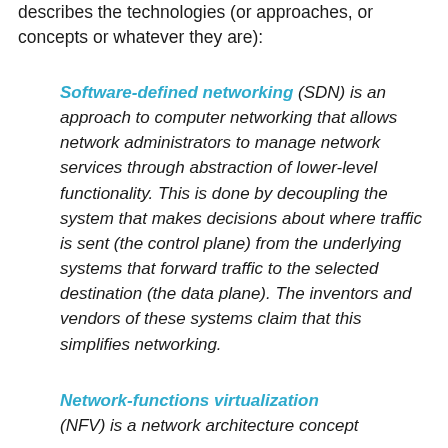describes the technologies (or approaches, or concepts or whatever they are):
Software-defined networking (SDN) is an approach to computer networking that allows network administrators to manage network services through abstraction of lower-level functionality. This is done by decoupling the system that makes decisions about where traffic is sent (the control plane) from the underlying systems that forward traffic to the selected destination (the data plane). The inventors and vendors of these systems claim that this simplifies networking.
Network-functions virtualization (NFV) is a network architecture concept